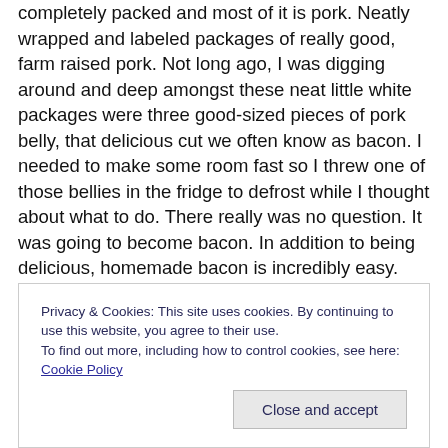completely packed and most of it is pork. Neatly wrapped and labeled packages of really good, farm raised pork. Not long ago, I was digging around and deep amongst these neat little white packages were three good-sized pieces of pork belly, that delicious cut we often know as bacon. I needed to make some room fast so I threw one of those bellies in the fridge to defrost while I thought about what to do. There really was no question. It was going to become bacon. In addition to being delicious, homemade bacon is incredibly easy. After a week long cure, I didn't feel like firing up the smoker and babysitting a temperature gage
Privacy & Cookies: This site uses cookies. By continuing to use this website, you agree to their use.
To find out more, including how to control cookies, see here: Cookie Policy
Close and accept